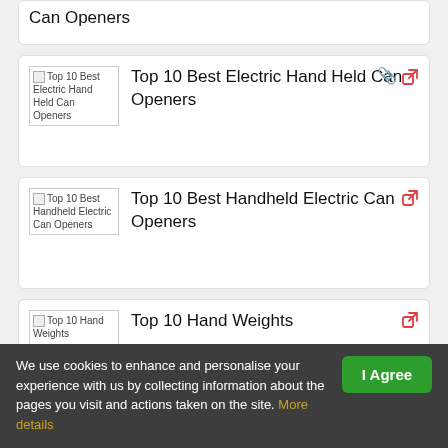Can Openers
Top 10 Best Electric Hand Held Can Openers
Top 10 Best Handheld Electric Can Openers
We use cookies to enhance and personalise your experience with us by collecting information about the pages you visit and actions taken on the site. More details
Top 10 Hand Weights